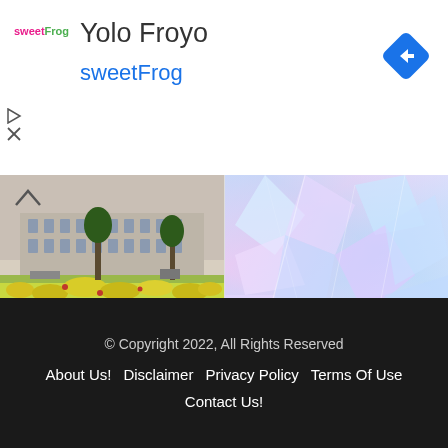[Figure (advertisement): SweetFrog Yolo Froyo ad banner with logo, title text, and navigation arrow]
[Figure (photo): Buckingham Palace with yellow flower garden in foreground]
500+ Auction House Names and Suggestions
March 28, 2021
[Figure (photo): Close-up of iridescent holographic material with blue and pink shimmer]
310 Plastic Company Names Ideas and Suggestions
November 13, 2021
© Copyright 2022, All Rights Reserved
About Us! Disclaimer Privacy Policy Terms Of Use
Contact Us!